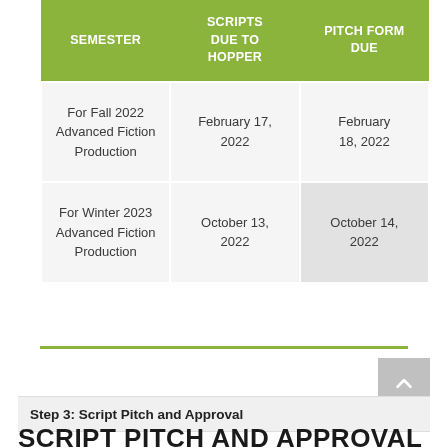| SEMESTER | SCRIPTS DUE TO HOPPER | PITCH FORM DUE |
| --- | --- | --- |
| For Fall 2022 Advanced Fiction Production | February 17, 2022 | February 18, 2022 |
| For Winter 2023 Advanced Fiction Production | October 13, 2022 | October 14, 2022 |
Step 3: Script Pitch and Approval
SCRIPT PITCH AND APPROVAL